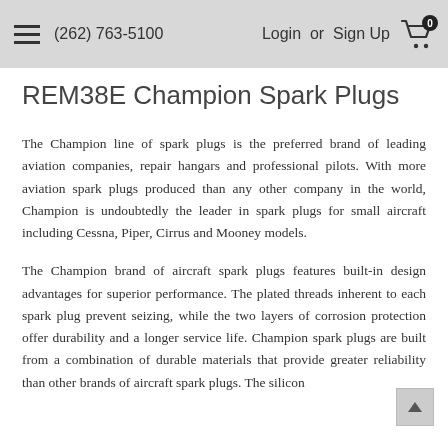(262) 763-5100   Login or Sign Up
REM38E Champion Spark Plugs
The Champion line of spark plugs is the preferred brand of leading aviation companies, repair hangars and professional pilots. With more aviation spark plugs produced than any other company in the world, Champion is undoubtedly the leader in spark plugs for small aircraft including Cessna, Piper, Cirrus and Mooney models.
The Champion brand of aircraft spark plugs features built-in design advantages for superior performance. The plated threads inherent to each spark plug prevent seizing, while the two layers of corrosion protection offer durability and a longer service life. Champion spark plugs are built from a combination of durable materials that provide greater reliability than other brands of aircraft spark plugs. The silicon